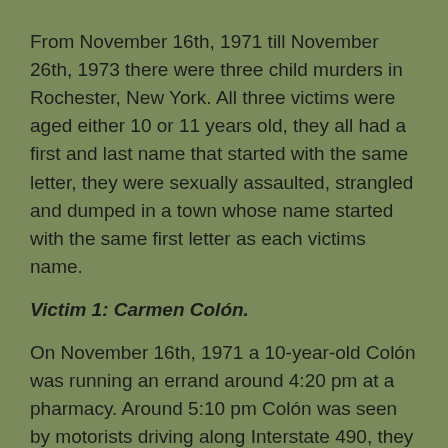From November 16th, 1971 till November 26th, 1973 there were three child murders in Rochester, New York. All three victims were aged either 10 or 11 years old, they all had a first and last name that started with the same letter, they were sexually assaulted, strangled and dumped in a town whose name started with the same first letter as each victims name.
Victim 1: Carmen Colón.
On November 16th, 1971 a 10-year-old Colón was running an errand around 4:20 pm at a pharmacy. Around 5:10 pm Colón was seen by motorists driving along Interstate 490, they reported that they saw her naked from the waist down and running away from a reversing vehicle. Witnesses would later report that Colón was seen being led back submissively to the dark-